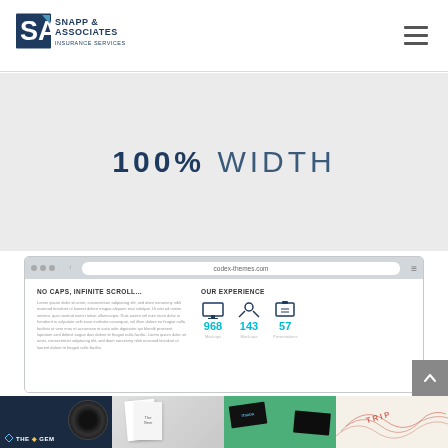Snapp & Associates Insurance Services Inc
100% WIDTH
[Figure (screenshot): Browser mockup showing a website with 'No Caps, Infinite Scroll...' section and 'Our Experience' stats showing 968 Mockups, 143 Mock.ups, 57 Presentations]
[Figure (screenshot): Portfolio strip showing four images: The Gem vinyl record design, stationery/print design, business card design on green background, and topographic map illustration]